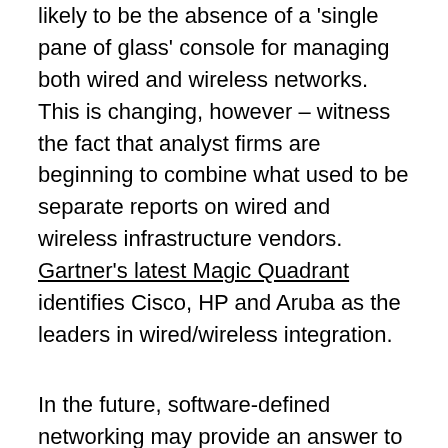likely to be the absence of a 'single pane of glass' console for managing both wired and wireless networks. This is changing, however – witness the fact that analyst firms are beginning to combine what used to be separate reports on wired and wireless infrastructure vendors. Gartner's latest Magic Quadrant identifies Cisco, HP and Aruba as the leaders in wired/wireless integration.
In the future, software-defined networking may provide an answer to wired/wireless unification, since the management of 'dumb' wireless access points via a separate wireless LAN controller has been common practice for years. Combining wired and wireless LAN control in a single SDN appliance